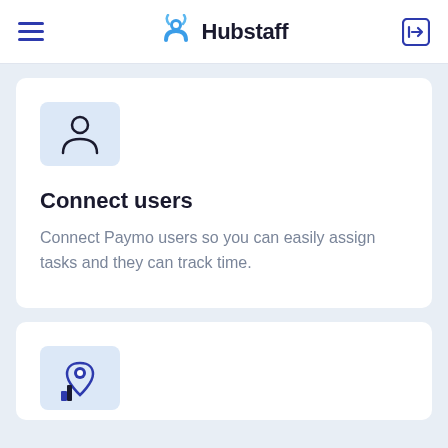Hubstaff
[Figure (illustration): User/person icon outline in dark navy on a light blue square background]
Connect users
Connect Paymo users so you can easily assign tasks and they can track time.
[Figure (illustration): Location pin icon in blue on a light blue square background (partially visible at bottom)]